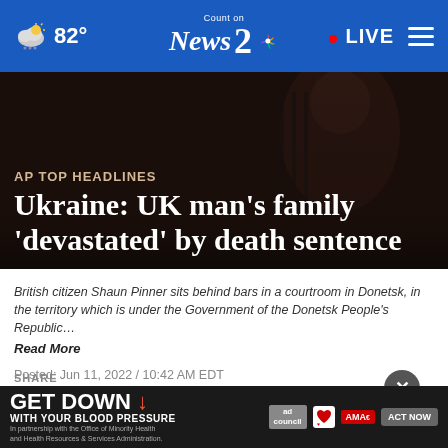82° | Count on News 2 NBC | LIVE
[Figure (screenshot): Dark background hero image of a person behind bars in a courtroom]
AP TOP HEADLINES
Ukraine: UK man's family 'devastated' by death sentence
British citizen Shaun Pinner sits behind bars in a courtroom in Donetsk, in the territory which is under the Government of the Donetsk People's Republic…
Read More
Posted: Jun 11, 2022 / 10:42 AM EDT
Updated: Jun 11, 2022 / 04:26 PM EDT
SHARE
[Figure (infographic): GET DOWN WITH YOUR BLOOD PRESSURE advertisement banner with ACT NOW button, ad council, American Heart Association, and AMA logos]